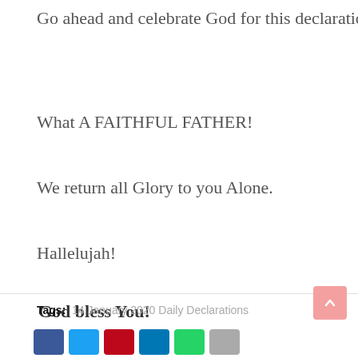Go ahead and celebrate God for this declarations
What A FAITHFUL FATHER!
We return all Glory to you Alone.
Hallelujah!
God bless You!
Tags: 14 January 2020 Daily Declarations